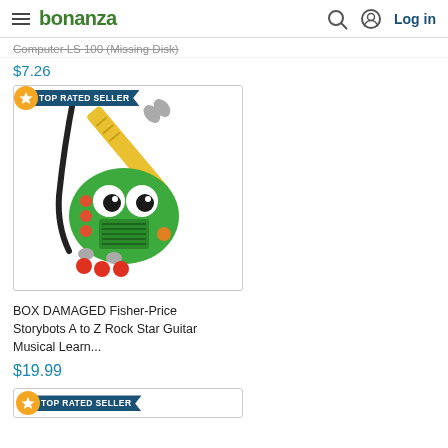bonanza  Log in
Computer LS 100 (Missing Disk)
$7.26
[Figure (photo): BOX DAMAGED Fisher-Price Storybots A to Z Rock Star Guitar Musical Learning toy with TOP RATED SELLER badge]
BOX DAMAGED Fisher-Price Storybots A to Z Rock Star Guitar Musical Learn...
$19.99
[Figure (other): TOP RATED SELLER badge at bottom of page]